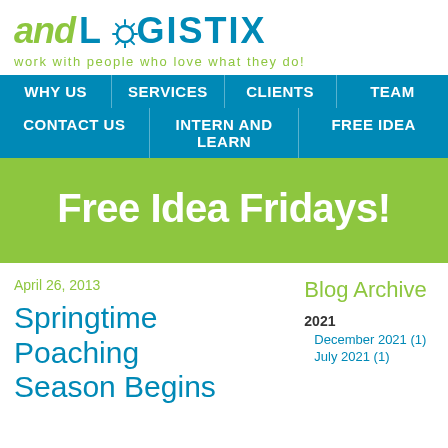[Figure (logo): and LOGISTIX logo with sun/gear on the O, tagline: work with people who love what they do!]
WHY US | SERVICES | CLIENTS | TEAM | CONTACT US | INTERN AND LEARN | FREE IDEA
Free Idea Fridays!
April 26, 2013
Springtime Poaching Season Begins
Blog Archive
2021
December 2021 (1)
July 2021 (1)